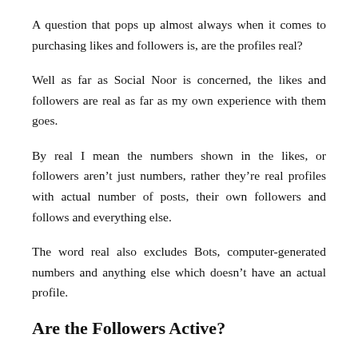A question that pops up almost always when it comes to purchasing likes and followers is, are the profiles real?
Well as far as Social Noor is concerned, the likes and followers are real as far as my own experience with them goes.
By real I mean the numbers shown in the likes, or followers aren't just numbers, rather they're real profiles with actual number of posts, their own followers and follows and everything else.
The word real also excludes Bots, computer-generated numbers and anything else which doesn't have an actual profile.
Are the Followers Active?